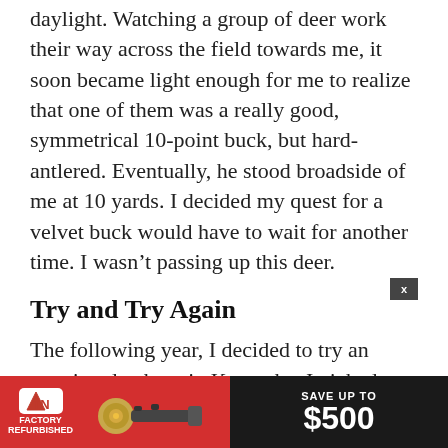daylight. Watching a group of deer work their way across the field towards me, it soon became light enough for me to realize that one of them was a really good, symmetrical 10-point buck, but hard-antlered. Eventually, he stood broadside of me at 10 yards. I decided my quest for a velvet buck would have to wait for another time. I wasn't passing up this deer.
Try and Try Again
The following year, I decided to try an opening day hunt in Kentucky. I picked an area of western Kentucky where there was a lot of public land to choose from; I arrived four days before the season opener. My plan was to spend the time pre-season scouting... velvet... ring
[Figure (infographic): ATN Factory Refurbished advertisement banner showing a rifle scope and text 'SAVE UP TO $500']